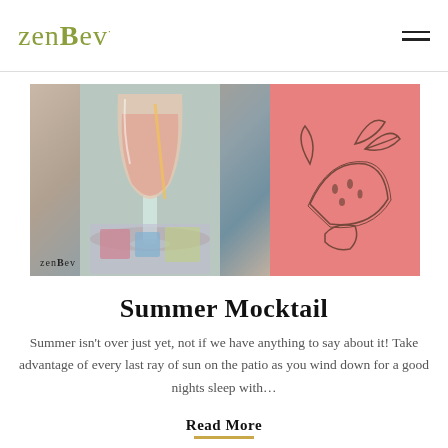zenBev
[Figure (photo): Left side: photo of a tall cocktail glass with a peachy-pink drink on a patio table with colorful items. Right side: salmon/coral pink background with line-art illustration of watermelon slice and almond/leaf. Watermark text 'zenBev' bottom left.]
Summer Mocktail
Summer isn't over just yet, not if we have anything to say about it! Take advantage of every last ray of sun on the patio as you wind down for a good nights sleep with…
Read More